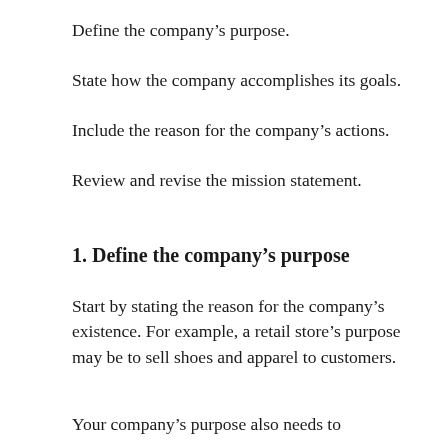Define the company’s purpose.
State how the company accomplishes its goals.
Include the reason for the company’s actions.
Review and revise the mission statement.
1. Define the company’s purpose
Start by stating the reason for the company’s existence. For example, a retail store’s purpose may be to sell shoes and apparel to customers.
Your company’s purpose also needs to